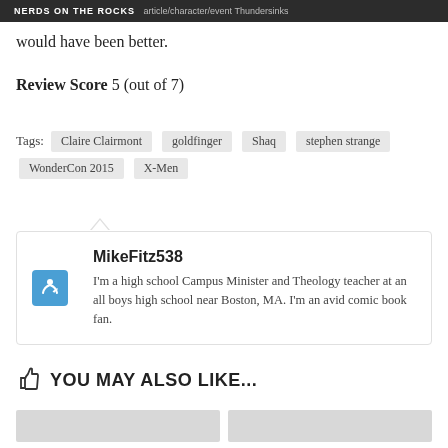NERDS ON THE ROCKS — article/character/event Thundersinks would have been better.
would have been better.
Review Score 5 (out of 7)
Tags: Claire Clairmont  goldfinger  Shaq  stephen strange  WonderCon 2015  X-Men
MikeFitz538
I'm a high school Campus Minister and Theology teacher at an all boys high school near Boston, MA. I'm an avid comic book fan.
YOU MAY ALSO LIKE...